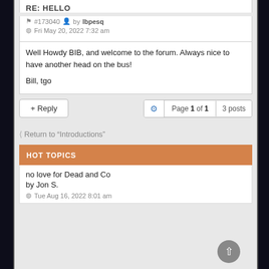RE: HELLO
#173040 by lbpesq
Fri May 20, 2022 7:32 am
Well Howdy BIB, and welcome to the forum. Always nice to have another head on the bus!

Bill, tgo
+ Reply | Page 1 of 1 | 3 posts
< Return to “Introductions”
HOT TOPICS
no love for Dead and Co
by Jon S.
Tue Aug 16, 2022 8:01 am